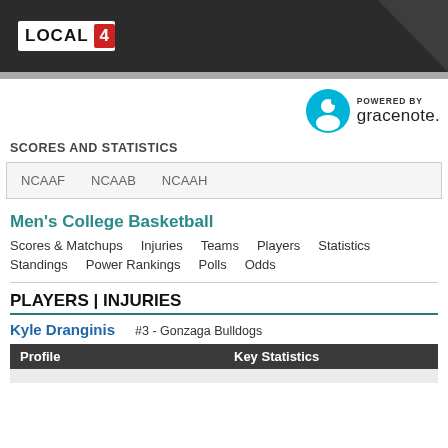[Figure (logo): LOCAL 4 news logo on dark header background]
[Figure (logo): Powered by Gracenote logo]
SCORES AND STATISTICS
NCAAF  NCAAB  NCAAH
Men's College Basketball
Scores & Matchups  Injuries  Teams  Players  Statistics
Standings  Power Rankings  Polls  Odds
PLAYERS | INJURIES
Kyle Dranginis
#3 - Gonzaga Bulldogs
| Profile | Key Statistics |
| --- | --- |
|  |  |